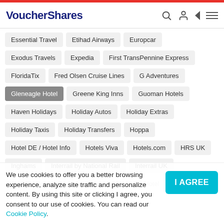VoucherShares
Essential Travel
Etihad Airways
Europcar
Exodus Travels
Expedia
First TransPennine Express
FloridaTix
Fred Olsen Cruise Lines
G Adventures
Gleneagle Hotel
Greene King Inns
Guoman Hotels
Haven Holidays
Holiday Autos
Holiday Extras
Holiday Taxis
Holiday Transfers
Hoppa
Hotel DE / Hotel Info
Hotels Viva
Hotels.com
HRS UK
Inghams
Interrail by National Rail
Interrail UK
We use cookies to offer you a better browsing experience, analyze site traffic and personalize content. By using this site or clicking I agree, you consent to our use of cookies. You can read our Cookie Policy.